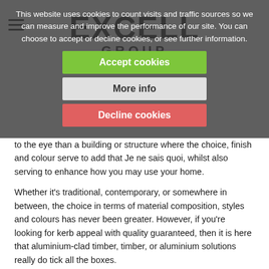[Figure (screenshot): Cookie consent overlay with Accept cookies (green), More info (grey), and Decline cookies (red) buttons, with website logo (EXCELL GROUP) visible behind overlay]
to the eye than a building or structure where the choice, finish and colour serve to add that Je ne sais quoi, whilst also serving to enhance how you may use your home.
Whether it's traditional, contemporary, or somewhere in between, the choice in terms of material composition, styles and colours has never been greater. However, if you're looking for kerb appeal with quality guaranteed, then it is here that aluminium-clad timber, timber, or aluminium solutions really do tick all the boxes.
2) Make Your Home Energy Efficient - And Save Money!
In today's environment of rapidly increasing energy costs, choosing your next suite of windows and